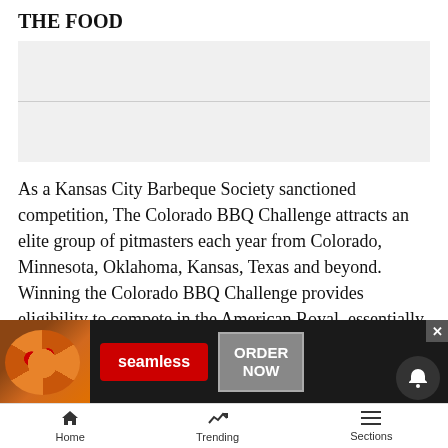THE FOOD
As a Kansas City Barbeque Society sanctioned competition, The Colorado BBQ Challenge attracts an elite group of pitmasters each year from Colorado, Minnesota, Oklahoma, Kansas, Texas and beyond. Winning the Colorado BBQ Challenge provides eligibility to compete in the American Royal, essentially the World Series of barbecue.
Competition categories include pork, ribs, chicken, brisket... The aw...
[Figure (screenshot): Seamless food delivery advertisement banner with pizza image, red Seamless badge, and ORDER NOW button]
Home   Trending   Sections